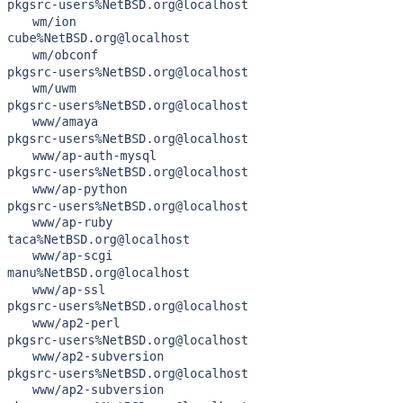pkgsrc-users%NetBSD.org@localhost
    wm/ion
cube%NetBSD.org@localhost
    wm/obconf
pkgsrc-users%NetBSD.org@localhost
    wm/uwm
pkgsrc-users%NetBSD.org@localhost
    www/amaya
pkgsrc-users%NetBSD.org@localhost
    www/ap-auth-mysql
pkgsrc-users%NetBSD.org@localhost
    www/ap-python
pkgsrc-users%NetBSD.org@localhost
    www/ap-ruby
taca%NetBSD.org@localhost
    www/ap-scgi
manu%NetBSD.org@localhost
    www/ap-ssl
pkgsrc-users%NetBSD.org@localhost
    www/ap2-perl
pkgsrc-users%NetBSD.org@localhost
    www/ap2-subversion
pkgsrc-users%NetBSD.org@localhost
    www/ap2-subversion
pkgsrc-users%NetBSD.org@localhost
    www/ap22-vhost-ldap
imil%gcu.info@localhost
    www/bkedit
pkgsrc-users%NetBSD.org@localhost
    www/crawl